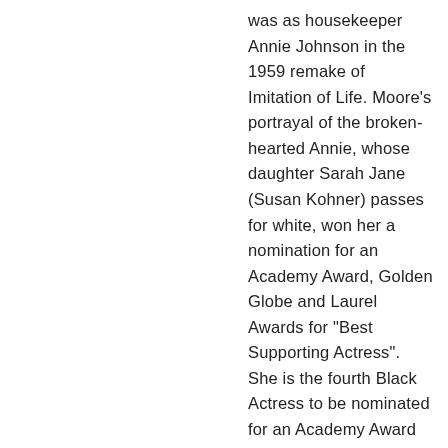was as housekeeper Annie Johnson in the 1959 remake of Imitation of Life. Moore's portrayal of the broken-hearted Annie, whose daughter Sarah Jane (Susan Kohner) passes for white, won her a nomination for an Academy Award, Golden Globe and Laurel Awards for "Best Supporting Actress". She is the fourth Black Actress to be nominated for an Academy Award in any category, and the third in the Supporting Actress category.She joined the Black-founded Ebony Showcase Theatre with founder Nick Stewart "Lightnin" on"Amos and Andy" Fame" and performed with them for decades. In the